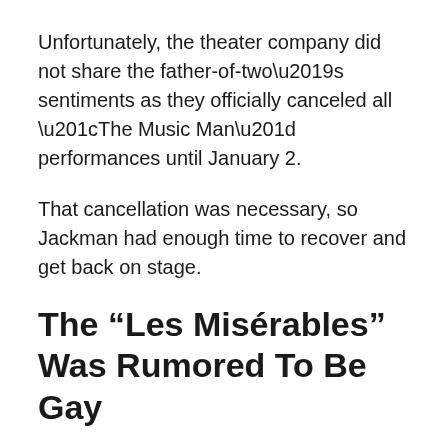Unfortunately, the theater company did not share the father-of-two’s sentiments as they officially canceled all “The Music Man” performances until January 2.
That cancellation was necessary, so Jackman had enough time to recover and get back on stage.
The “Les Misérables” Was Rumored To Be Gay
Aside from fighting COVID, the “Rise of the Guardians” actor has also dealt with rumors about his sexuality – despite his long-standing and seemingly happy marriage to Deborra-Lee